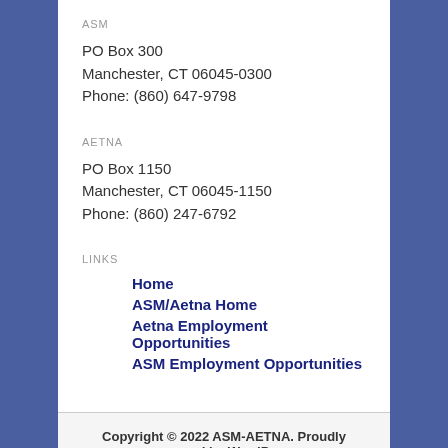ASM
PO Box 300
Manchester, CT 06045-0300
Phone: (860) 647-9798
AETNA
PO Box 1150
Manchester, CT 06045-1150
Phone: (860) 247-6792
LINKS
Home
ASM/Aetna Home
Aetna Employment Opportunities
ASM Employment Opportunities
Copyright © 2022 ASM-AETNA. Proudly powered by WordPress